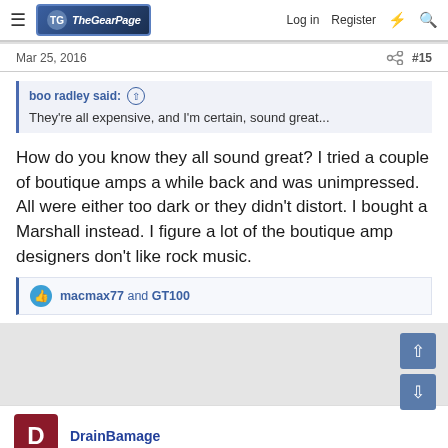The Gear Page — Log in  Register
Mar 25, 2016  #15
boo radley said: ⊕
They're all expensive, and I'm certain, sound great...
How do you know they all sound great? I tried a couple of boutique amps a while back and was unimpressed. All were either too dark or they didn't distort. I bought a Marshall instead. I figure a lot of the boutique amp designers don't like rock music.
👍 macmax77 and GT100
DrainBamage